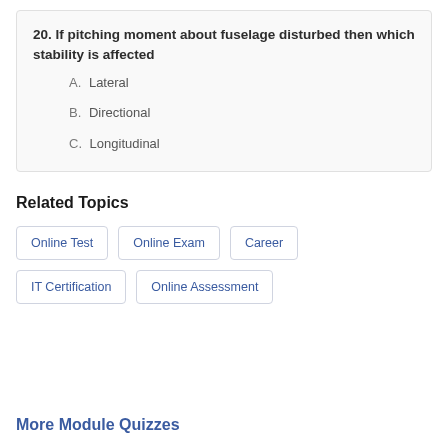20. If pitching moment about fuselage disturbed then which stability is affected
A. Lateral
B. Directional
C. Longitudinal
Related Topics
Online Test
Online Exam
Career
IT Certification
Online Assessment
More Module Quizzes